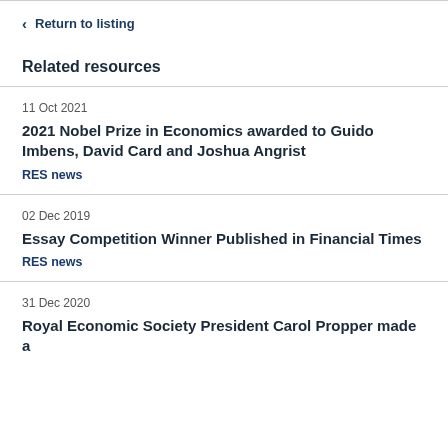< Return to listing
Related resources
11 Oct 2021
2021 Nobel Prize in Economics awarded to Guido Imbens, David Card and Joshua Angrist
RES news
02 Dec 2019
Essay Competition Winner Published in Financial Times
RES news
31 Dec 2020
Royal Economic Society President Carol Propper made a